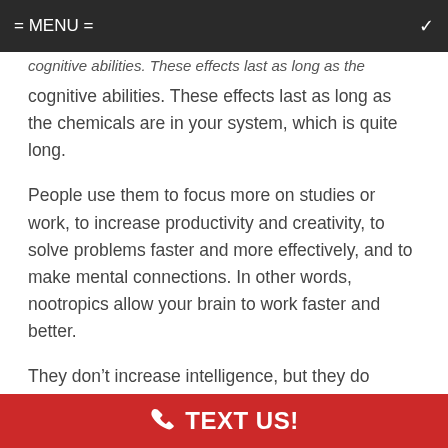= MENU =
cognitive abilities. These effects last as long as the chemicals are in your system, which is quite long.
People use them to focus more on studies or work, to increase productivity and creativity, to solve problems faster and more effectively, and to make mental connections. In other words, nootropics allow your brain to work faster and better.
They don't increase intelligence, but they do support all cognitive processes, making it easier for you to retain information, memorize information, solve problems, come up with ideas and see connections between
TEXT US!